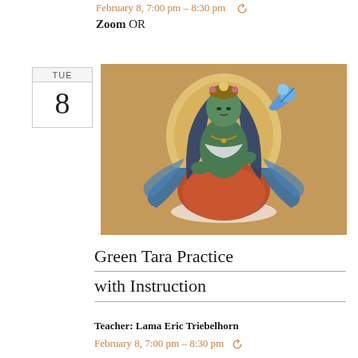February 8, 7:00 pm – 8:30 pm  ↻
Zoom OR
TUE 8
[Figure (illustration): Thangka painting of Green Tara, a seated Buddhist deity with green skin, wearing orange robes and blue scarves, in a meditative pose on a lotus throne with a golden halo behind her.]
Green Tara Practice with Instruction
Teacher: Lama Eric Triebelhorn
February 8, 7:00 pm – 8:30 pm  ↻